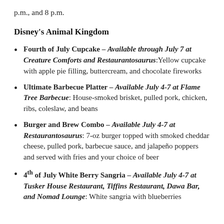p.m., and 8 p.m.
Disney's Animal Kingdom
Fourth of July Cupcake – Available through July 7 at Creature Comforts and Restaurantosaurus: Yellow cupcake with apple pie filling, buttercream, and chocolate fireworks
Ultimate Barbecue Platter – Available July 4-7 at Flame Tree Barbecue: House-smoked brisket, pulled pork, chicken, ribs, coleslaw, and beans
Burger and Brew Combo – Available July 4-7 at Restaurantosaurus: 7-oz burger topped with smoked cheddar cheese, pulled pork, barbecue sauce, and jalapeño poppers and served with fries and your choice of beer
4th of July White Berry Sangria – Available July 4-7 at Tusker House Restaurant, Tiffins Restaurant, Dawa Bar, and Nomad Lounge: White sangria with blueberries